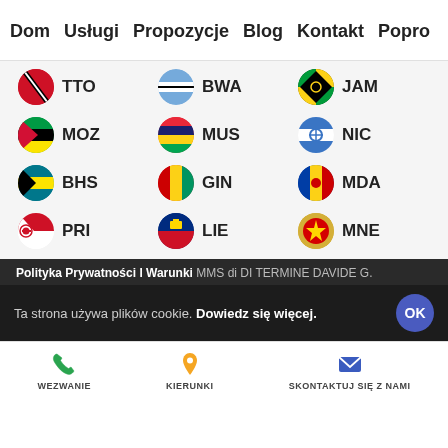Dom  Usługi  Propozycje  Blog  Kontakt  Popro
[Figure (infographic): Grid of country flag icons with 3-letter country codes: TTO, BWA, JAM, MOZ, MUS, NIC, BHS, GIN, MDA, PRI, LIE, MNE]
Polityka Prywatności I Warunki  MMS di DI TERMINE DAVIDE G.
Ta strona używa plików cookie. Dowiedz się więcej.
WEZWANIE  KIERUNKI  SKONTAKTUJ SIĘ Z NAMI